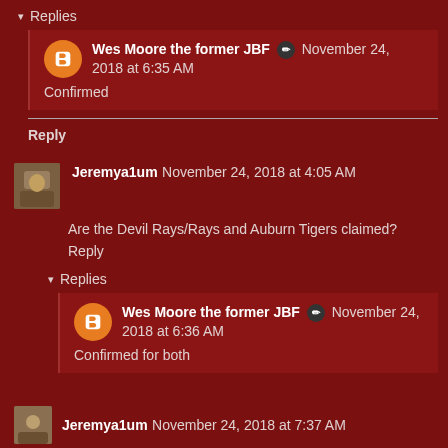▾ Replies
Wes Moore the former JBF ✏ November 24, 2018 at 6:35 AM
Confirmed
Reply
Jeremya1um November 24, 2018 at 4:05 AM
Are the Devil Rays/Rays and Auburn Tigers claimed?
Reply
▾ Replies
Wes Moore the former JBF ✏ November 24, 2018 at 6:36 AM
Confirmed for both
Jeremya1um November 24, 2018 at 7:37 AM